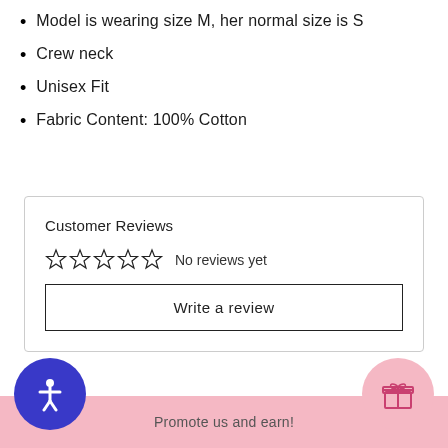Model is wearing size M, her normal size is S
Crew neck
Unisex Fit
Fabric Content: 100% Cotton
Customer Reviews
No reviews yet
Write a review
Promote us and earn!